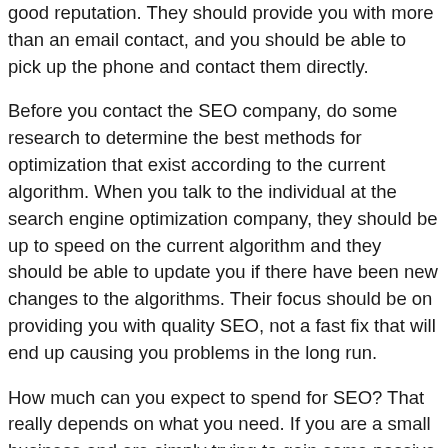good reputation. They should provide you with more than an email contact, and you should be able to pick up the phone and contact them directly.
Before you contact the SEO company, do some research to determine the best methods for optimization that exist according to the current algorithm. When you talk to the individual at the search engine optimization company, they should be up to speed on the current algorithm and they should be able to update you if there have been new changes to the algorithms. Their focus should be on providing you with quality SEO, not a fast fix that will end up causing you problems in the long run.
How much can you expect to spend for SEO? That really depends on what you need. If you are a small business and are simply trying to gain some passive customers from your website, you will probably spend $100 or more every month for such a service. It is possible, however, for you to spend thousands of dollars every month if you want to take your website to the next level and rank for some of the